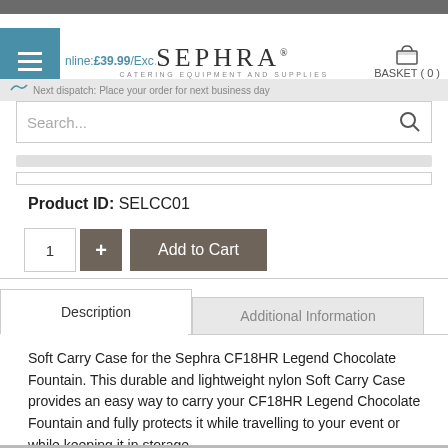Sephra Catering Equipment and Supplies
Online: £39.99 /Exc...
Search...
Next dispatch: Place your order for next business day
Product ID: SELCC01
1  +  Add to Cart
Description
Additional Information
Soft Carry Case for the Sephra CF18HR Legend Chocolate Fountain. This durable and lightweight nylon Soft Carry Case provides an easy way to carry your CF18HR Legend Chocolate Fountain and fully protects it while travelling to your event or while keeping it in storage.